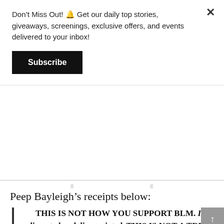Don't Miss Out! 🔔 Get our daily top stories, giveaways, screenings, exclusive offers, and events delivered to your inbox!
Subscribe
Peep Bayleigh's receipts below:
THIS IS NOT HOW YOU SUPPORT BLM. I'm disgusted and disappointed. THIS IS NOT A TREND. THIS IS LIFE OR DEATH FOR US. Posting for clout about the death of black people? Shame on you @deenguyenMTV pic.twitter.com/pAw4KQKy30